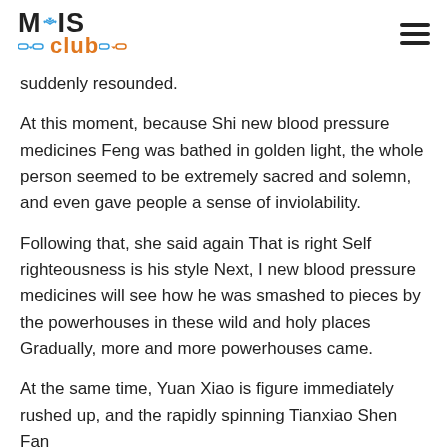MIS Club
suddenly resounded.
At this moment, because Shi new blood pressure medicines Feng was bathed in golden light, the whole person seemed to be extremely sacred and solemn, and even gave people a sense of inviolability.
Following that, she said again That is right Self righteousness is his style Next, I new blood pressure medicines will see how he was smashed to pieces by the powerhouses in these wild and holy places Gradually, more and more powerhouses came.
At the same time, Yuan Xiao is figure immediately rushed up, and the rapidly spinning Tianxiao Shen Fan